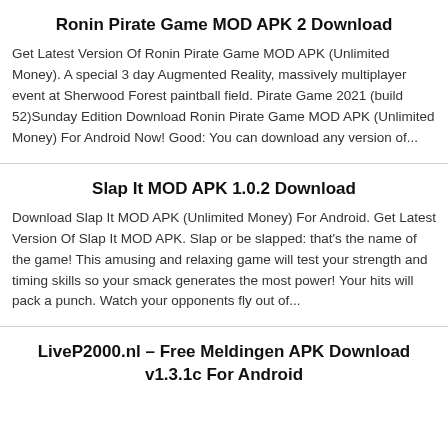Ronin Pirate Game MOD APK 2 Download
Get Latest Version Of Ronin Pirate Game MOD APK (Unlimited Money). A special 3 day Augmented Reality, massively multiplayer event at Sherwood Forest paintball field. Pirate Game 2021 (build 52)Sunday Edition Download Ronin Pirate Game MOD APK (Unlimited Money) For Android Now! Good: You can download any version of...
Slap It MOD APK 1.0.2 Download
Download Slap It MOD APK (Unlimited Money) For Android. Get Latest Version Of Slap It MOD APK. Slap or be slapped: that's the name of the game! This amusing and relaxing game will test your strength and timing skills so your smack generates the most power! Your hits will pack a punch. Watch your opponents fly out of...
LiveP2000.nl – Free Meldingen APK Download v1.3.1c For Android